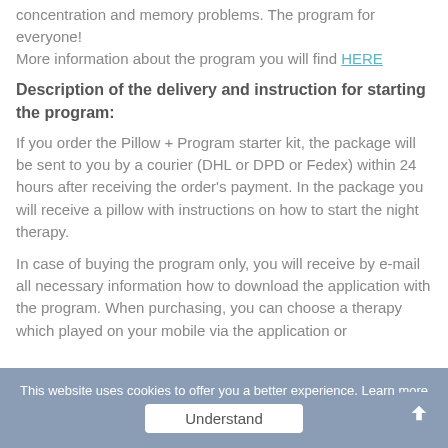concentration and memory problems. The program for everyone!
More information about the program you will find HERE
Description of the delivery and instruction for starting the program:
If you order the Pillow + Program starter kit, the package will be sent to you by a courier (DHL or DPD or Fedex) within 24 hours after receiving the order's payment. In the package you will receive a pillow with instructions on how to start the night therapy.
In case of buying the program only, you will receive by e-mail all necessary information how to download the application with the program. When purchasing, you can choose a therapy which played on your mobile via the application or ...
This website uses cookies to offer you a better experience. Learn more
Understand